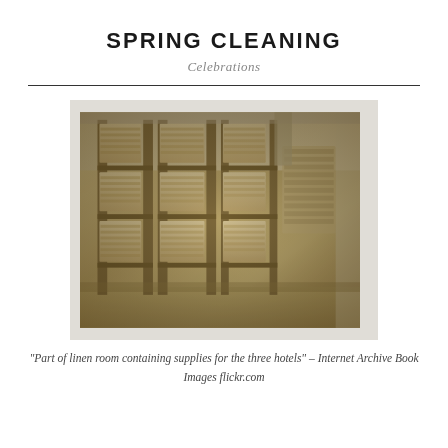SPRING CLEANING
Celebrations
[Figure (photo): Sepia-toned historical photograph of a hotel linen room with tall shelving units stacked floor-to-ceiling with folded linens and supplies.]
“Part of linen room containing supplies for the three hotels” – Internet Archive Book Images flickr.com